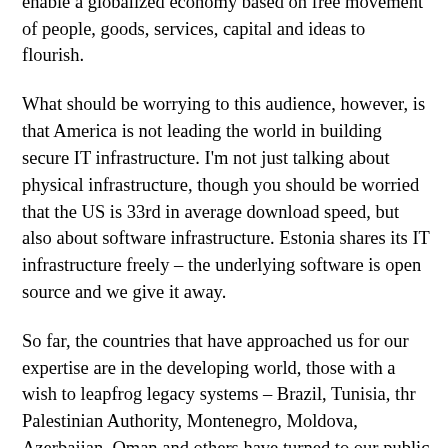cost, but as an enabler. Our cybersecurity needs to enable a globalized economy based on free movement of people, goods, services, capital and ideas to flourish.
What should be worrying to this audience, however, is that America is not leading the world in building secure IT infrastructure. I'm not just talking about physical infrastructure, though you should be worried that the US is 33rd in average download speed, but also about software infrastructure. Estonia shares its IT infrastructure freely – the underlying software is open source and we give it away.
So far, the countries that have approached us for our expertise are in the developing world, those with a wish to leapfrog legacy systems – Brazil, Tunisia, thr Palestinian Authority, Montenegro, Moldova, Azerbaijan, Oman and others have turned to our public and private sector. We are now seeing the rich world catch up – we now have an expert who inside the UK cabinet office advising their IT reform, and several books have been written about our e-ID and x-road in Japan.
My point is not to copy Estonia. There is hardly a need for the U.S. or Europe to do that. Rather, we need to think far more about how